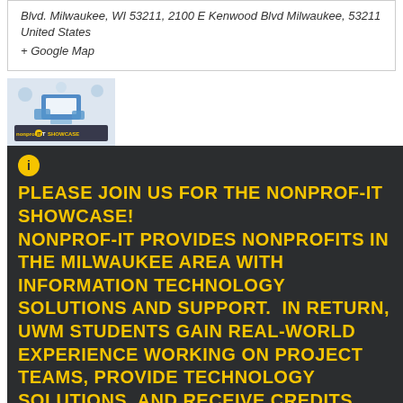Blvd. Milwaukee, WI 53211, 2100 E Kenwood Blvd Milwaukee, 53211 United States
+ Google Map
[Figure (illustration): Nonprof-IT Showcase banner image showing devices and technology icons with 'nonprof IT SHOWCASE' branding]
PLEASE JOIN US FOR THE NONPROF-IT SHOWCASE! NONPROF-IT PROVIDES NONPROFITS IN THE MILWAUKEE AREA WITH INFORMATION TECHNOLOGY SOLUTIONS AND SUPPORT. IN RETURN, UWM STUDENTS GAIN REAL-WORLD EXPERIENCE WORKING ON PROJECT TEAMS, PROVIDE TECHNOLOGY SOLUTIONS, AND RECEIVE CREDITS TOWARD GRADUATION WHILE....
FIND OUT MORE »